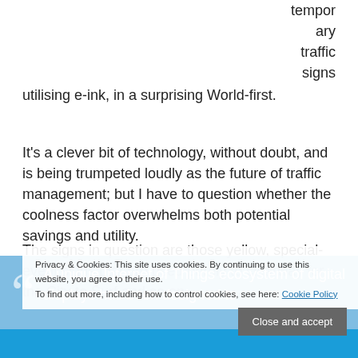temporary traffic signs utilising e-ink, in a surprising World-first.
It's a clever bit of technology, without doubt, and is being trumpeted loudly as the future of traffic management; but I have to question whether the coolness factor overwhelms both potential savings and utility.
The signs in question are those yellow, special-event signs that are used purely to clearway for the City to Surf and so on.
Privacy & Cookies: This site uses cookies. By continuing to use this website, you agree to their use. To find out more, including how to control cookies, see here: Cookie Policy
Close and accept
A unique Internet of Things ecosystem of digital displays has been designed to